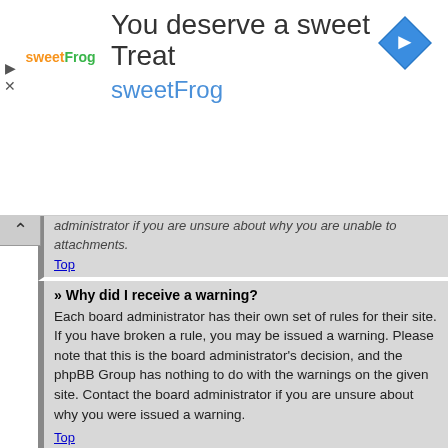[Figure (advertisement): SweetFrog frozen yogurt advertisement banner with logo, headline 'You deserve a sweet Treat', brand name 'sweetFrog', and a blue diamond navigation icon on the right.]
administrator if you are unsure about why you are unable to attachments.
Top
» Why did I receive a warning?
Each board administrator has their own set of rules for their site. If you have broken a rule, you may be issued a warning. Please note that this is the board administrator's decision, and the phpBB Group has nothing to do with the warnings on the given site. Contact the board administrator if you are unsure about why you were issued a warning.
Top
» How can I report posts to a moderator?
If the board administrator has allowed it, you should see a button for reporting posts next to the post you wish to report. Clicking this will walk you through the steps necessary to report the post.
Top
» What is the “Save” button for in topic posting?
This allows you to save passages to be completed and submitted